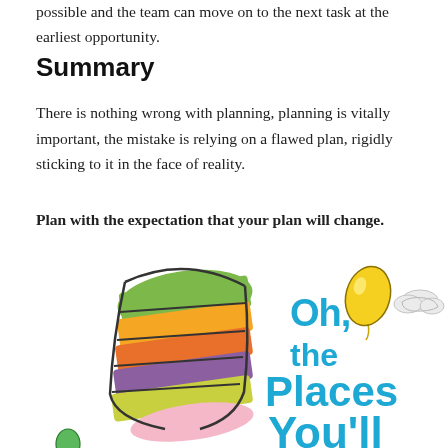possible and the team can move on to the next task at the earliest opportunity.
Summary
There is nothing wrong with planning, planning is vitally important, the mistake is relying on a flawed plan, rigidly sticking to it in the face of reality.
Plan with the expectation that your plan will change.
[Figure (illustration): Dr. Seuss book cover illustration showing the Cat in the Hat hat with rainbow colored stripes and the text 'Oh, the Places You'll' visible. A yellow balloon and white cloud graphic are in the upper right.]